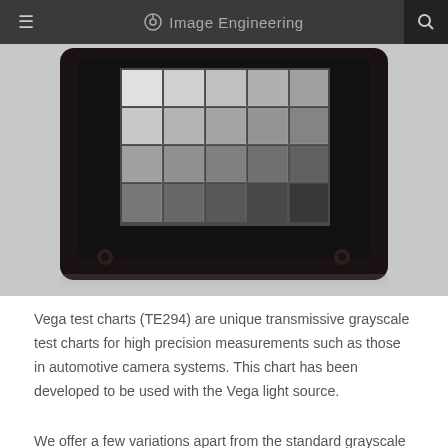Image Engineering
[Figure (photo): A dark-framed transmissive grayscale test chart (Vega TE294) showing a grid of graduated gray patches from white to dark gray, with the chart mounted in a black holder with mounting studs visible at bottom-left and bottom-right corners.]
Vega test charts (TE294) are unique transmissive grayscale test charts for high precision measurements such as those in automotive camera systems. This chart has been developed to be used with the Vega light source.
We offer a few variations apart from the standard grayscale